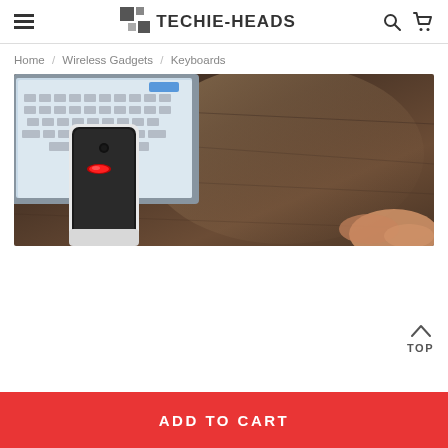TECHIE-HEADS
Home / Wireless Gadgets / Keyboards
[Figure (photo): A white smartphone with a red LED indicator light propped against a tablet or laptop showing a keyboard on screen, placed on a dark wooden desk surface with a hand visible in the background.]
TOP
ADD TO CART